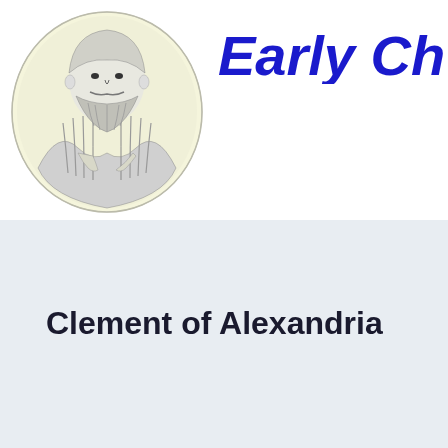[Figure (illustration): Black and white engraving portrait of a bearded man in robes, shown from the waist up, inside an oval/circular frame with a light yellow background]
Early Ch
Clement of Alexandria